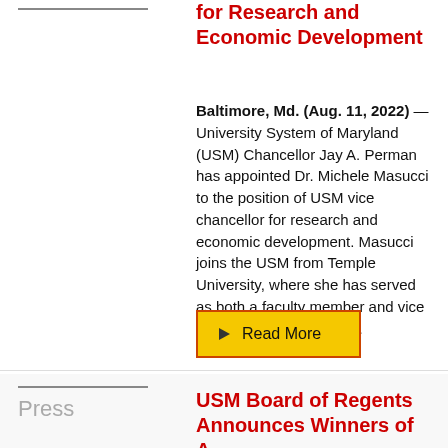for Research and Economic Development
Baltimore, Md. (Aug. 11, 2022) — University System of Maryland (USM) Chancellor Jay A. Perman has appointed Dr. Michele Masucci to the position of USM vice chancellor for research and economic development. Masucci joins the USM from Temple University, where she has served as both a faculty member and vice president for research. ...
Read More
USM Board of Regents Announces Winners of A...